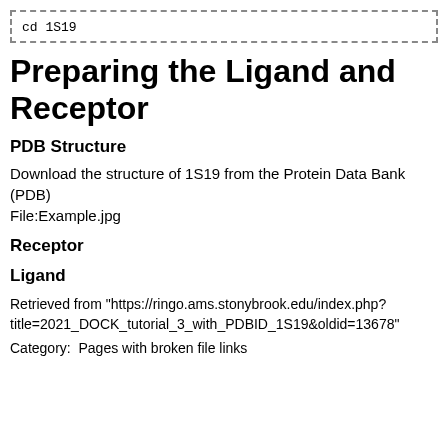cd 1S19
Preparing the Ligand and Receptor
PDB Structure
Download the structure of 1S19 from the Protein Data Bank (PDB) File:Example.jpg
Receptor
Ligand
Retrieved from "https://ringo.ams.stonybrook.edu/index.php?title=2021_DOCK_tutorial_3_with_PDBID_1S19&oldid=13678"
Category:  Pages with broken file links